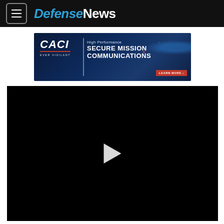Defense News
[Figure (screenshot): CACI advertisement banner: High Performance Secure Mission Communications, Ever Vigilant, Learn More button, dark blue space-themed background]
[Figure (screenshot): Black video player with a white play button triangle in the center]